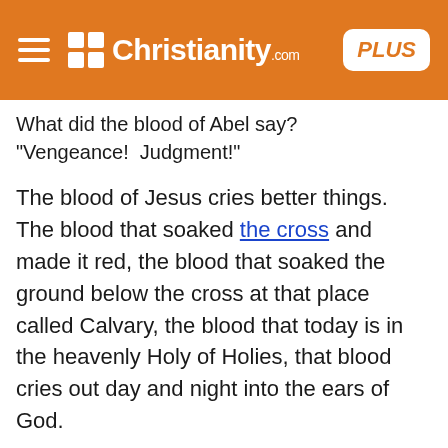Christianity.com PLUS
What did the blood of Abel say? "Vengeance!  Judgment!"
The blood of Jesus cries better things.  The blood that soaked the cross and made it red, the blood that soaked the ground below the cross at that place called Calvary, the blood that today is in the heavenly Holy of Holies, that blood cries out day and night into the ears of God.
The blood of Jesus today does not cry out, "Vengeance!  Judgment!"  Instead, it cries